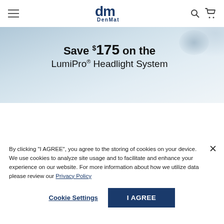DenMat
[Figure (photo): Hero banner with light blue/grey gradient background and product image partially visible, showing promotional text: Save $175 on the LumiPro® Headlight System]
By clicking "I AGREE", you agree to the storing of cookies on your device. We use cookies to analyze site usage and to facilitate and enhance your experience on our website. For more information about how we utilize data please review our Privacy Policy
Cookie Settings
I AGREE